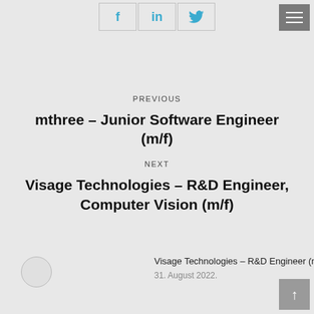[Figure (other): Social sharing buttons: Facebook (f), LinkedIn (in), Twitter bird icon, arranged in a row of bordered boxes]
[Figure (other): Hamburger menu icon (three horizontal lines) on grey background, top right corner]
PREVIOUS
mthree – Junior Software Engineer (m/f)
NEXT
Visage Technologies – R&D Engineer, Computer Vision (m/f)
Visage Technologies – R&D Engineer (m/f)
31. August 2022.